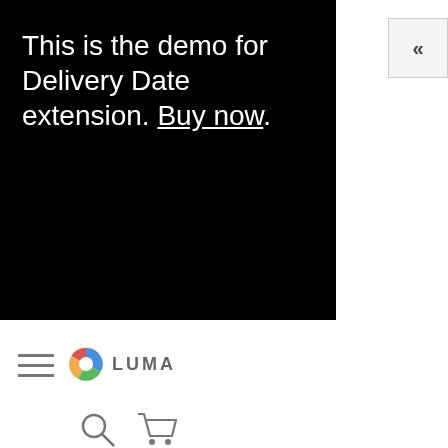[Figure (screenshot): Website demo banner with black background showing text about Delivery Date extension with Buy now link]
This is the demo for Delivery Date extension. Buy now.
[Figure (screenshot): Website navigation bar with hamburger menu, Luma logo, search icon and cart icon]
[Figure (screenshot): Hero section with blue background and text: New Luma Yoga Collection, Get fit and]
New Luma Yoga Collection
Get fit and